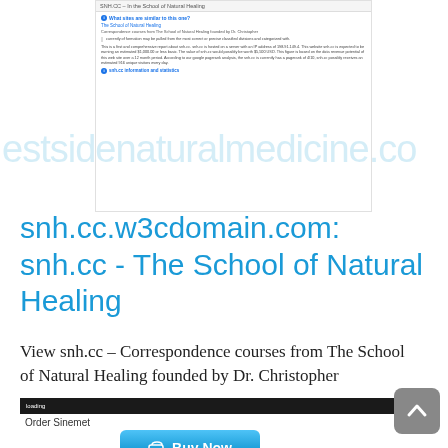[Figure (screenshot): Screenshot of a web analytics or W3Domain page showing information about snh.cc - The School of Natural Healing, with site information, questions section, and statistics link]
estsidenaturalmedicine.co
snh.cc.w3cdomain.com: snh.cc - The School of Natural Healing
View snh.cc – Correspondence courses from The School of Natural Healing founded by Dr. Christopher
[Figure (screenshot): Bottom section showing a dark navigation bar with 'loading' text, Order Sinemet label, and a blue Buy Now button with shopping cart icon]
[Figure (other): Gray back-to-top button with upward arrow chevron in bottom right corner]